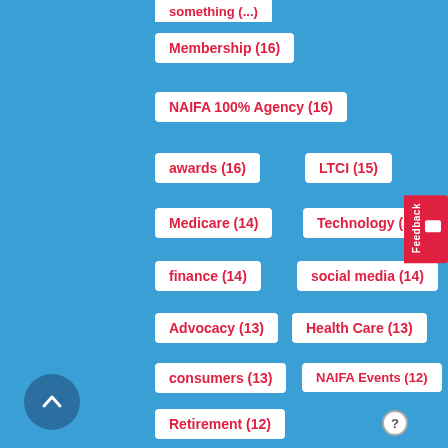Membership (16)
NAIFA 100% Agency (16)
awards (16)
LTCI (15)
Medicare (14)
Technology (14)
finance (14)
social media (14)
Advocacy (13)
Health Care (13)
consumers (13)
NAIFA Events (12)
Retirement (12)
Running Your Practice (12)
leadership (12)